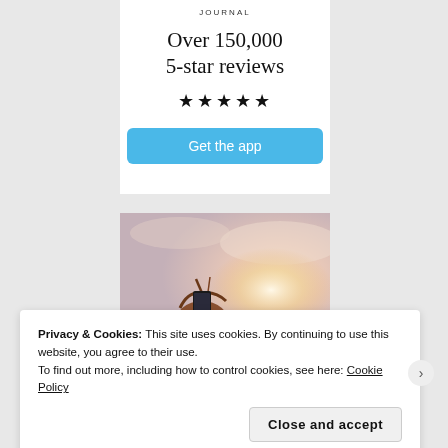JOURNAL
Over 150,000
5-star reviews
★★★★★
Get the app
[Figure (photo): Person photographed from behind, holding a phone up toward a bright sky, with warm light behind them.]
Privacy & Cookies: This site uses cookies. By continuing to use this website, you agree to their use.
To find out more, including how to control cookies, see here: Cookie Policy
Close and accept